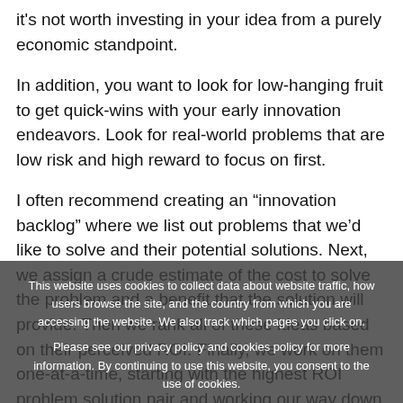it's not worth investing in your idea from a purely economic standpoint.
In addition, you want to look for low-hanging fruit to get quick-wins with your early innovation endeavors. Look for real-world problems that are low risk and high reward to focus on first.
I often recommend creating an “innovation backlog” where we list out problems that we’d like to solve and their potential solutions. Next, we assign a crude estimate of the cost to solve the problem and a benefit that the solution will provide. Then we rank all of these ideas based on their perceived ROI. Finally, we work on them one-at-a-time, starting with the highest ROI problem solution pair and working our way down.
This website uses cookies to collect data about website traffic, how users browse the site, and the country from which you are accessing the website. We also track which pages you click on. Please see our privacy policy and cookies policy for more information. By continuing to use this website, you consent to the use of cookies.